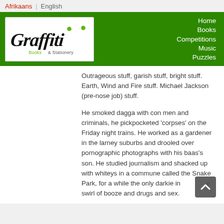Afrikaans | English
[Figure (logo): Graffiti Books & Stationery logo — handwritten 'Graffiti' text with two green dots on the i's, subtitle 'Books & Stationery']
Home | Books | Competitions | Music | Puzzles
Outrageous stuff, garish stuff, bright stuff. Earth, Wind and Fire stuff. Michael Jackson (pre-nose job) stuff.
He smoked dagga with con men and criminals, he pickpocketed 'corpses' on the Friday night trains. He worked as a gardener in the larney suburbs and drooled over pornographic photographs with his baas's son. He studied journalism and shacked up with whiteys in a commune called the Snake Park, for a while the only darkie in a swirl of booze and drugs and sex.